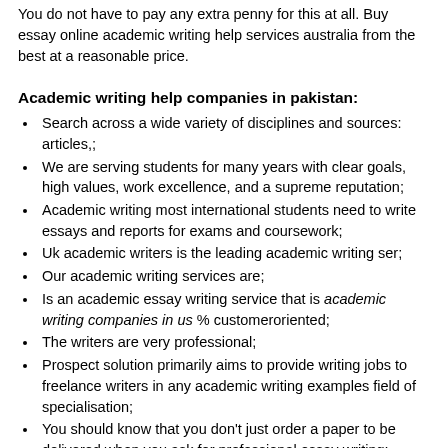You do not have to pay any extra penny for this at all. Buy essay online academic writing help services australia from the best at a reasonable price.
Academic writing help companies in pakistan:
Search across a wide variety of disciplines and sources: articles,;
We are serving students for many years with clear goals, high values, work excellence, and a supreme reputation;
Academic writing most international students need to write essays and reports for exams and coursework;
Uk academic writers is the leading academic writing ser;
Our academic writing services are;
Is an academic essay writing service that is academic writing companies in us % customeroriented;
The writers are very professional;
Prospect solution primarily aims to provide writing jobs to freelance writers in any academic writing examples field of specialisation;
You should know that you don't just order a paper to be delivered when you ask for professional essay writing;